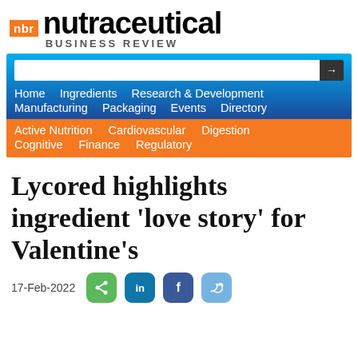nbr nutraceutical BUSINESS REVIEW
[Figure (screenshot): Navigation bar with search field and menu links: Home, Ingredients, Research & Development, Manufacturing, Packaging, Events, Directory; orange sub-nav: Active Nutrition, Cardiovascular, Digestion, Cognitive, Finance, Regulatory]
Lycored highlights ingredient 'love story' for Valentine's
17-Feb-2022